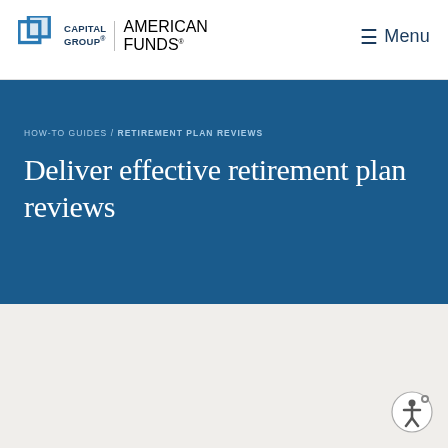CAPITAL GROUP® | AMERICAN FUNDS®   ≡ Menu
HOW-TO GUIDES / RETIREMENT PLAN REVIEWS
Deliver effective retirement plan reviews
Help plan sponsors assess and improve their plans.
Use these resources for each action item ... step-by-step review to demonstrate your value and